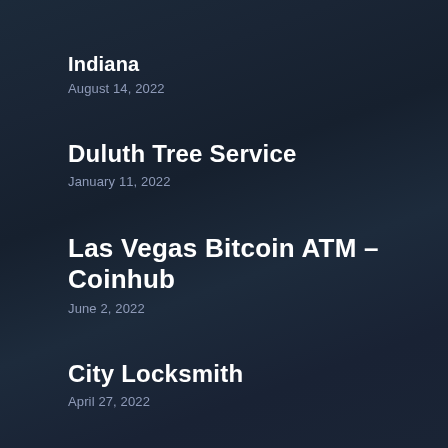Indiana
August 14, 2022
Duluth Tree Service
January 11, 2022
Las Vegas Bitcoin ATM – Coinhub
June 2, 2022
City Locksmith
April 27, 2022
Port St Lucie Concrete Pros
August 14, 2022